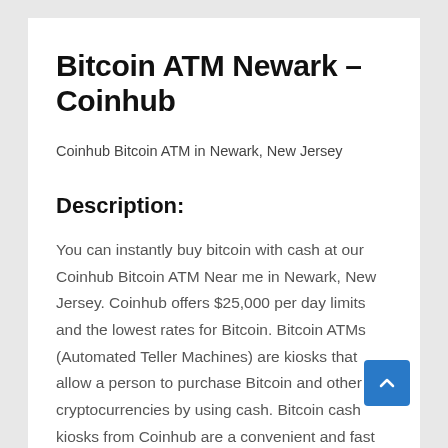Bitcoin ATM Newark – Coinhub
Coinhub Bitcoin ATM in Newark, New Jersey
Description:
You can instantly buy bitcoin with cash at our Coinhub Bitcoin ATM Near me in Newark, New Jersey. Coinhub offers $25,000 per day limits and the lowest rates for Bitcoin. Bitcoin ATMs (Automated Teller Machines) are kiosks that allow a person to purchase Bitcoin and other cryptocurrencies by using cash. Bitcoin cash kiosks from Coinhub are a convenient and fast way to purchase Bitcoin and receive it in minutes directly into your wallet. Coinhub Bitcoin machines can be used